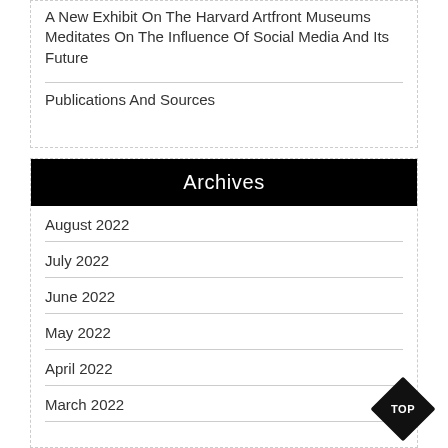A New Exhibit On The Harvard Artfront Museums Meditates On The Influence Of Social Media And Its Future
Publications And Sources
Archives
August 2022
July 2022
June 2022
May 2022
April 2022
March 2022